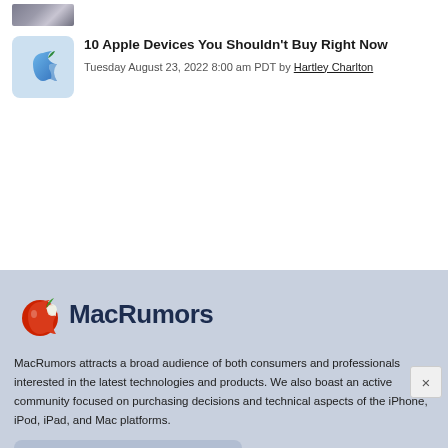[Figure (photo): Partial thumbnail image at top, showing colored/purple tones]
[Figure (illustration): Blue Apple logo on light blue rounded square thumbnail]
10 Apple Devices You Shouldn't Buy Right Now
Tuesday August 23, 2022 8:00 am PDT by Hartley Charlton
[Figure (logo): MacRumors logo - red apple icon with MacRumors text in dark navy]
MacRumors attracts a broad audience of both consumers and professionals interested in the latest technologies and products. We also boast an active community focused on purchasing decisions and technical aspects of the iPhone, iPod, iPad, and Mac platforms.
About MacRumors.com